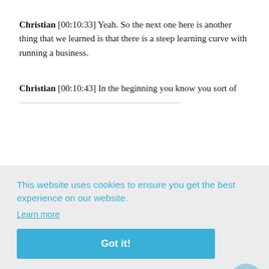Christian [00:10:33] Yeah. So the next one here is another thing that we learned is that there is a steep learning curve with running a business.
Christian [00:10:43] In the beginning you know you sort of [text continues below cookie banner] ...st ...s ...ne ...un
[Figure (screenshot): Cookie consent banner overlay with light grey background. Contains blue text: 'This website uses cookies to ensure you get the best experience on our website.' with a 'Learn more' link and a blue 'Got it!' button. A chat bubble icon appears in the bottom right corner.]
learn about for us like creating proposals insurance you